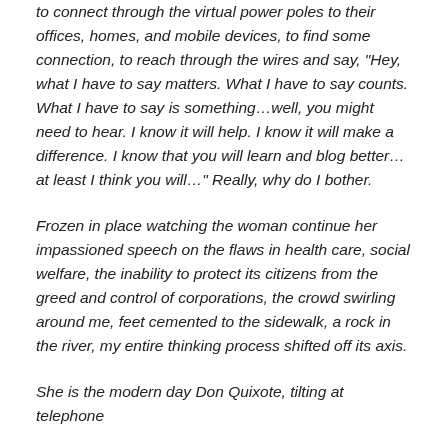to connect through the virtual power poles to their offices, homes, and mobile devices, to find some connection, to reach through the wires and say, "Hey, what I have to say matters. What I have to say counts. What I have to say is something…well, you might need to hear. I know it will help. I know it will make a difference. I know that you will learn and blog better…at least I think you will…" Really, why do I bother.
Frozen in place watching the woman continue her impassioned speech on the flaws in health care, social welfare, the inability to protect its citizens from the greed and control of corporations, the crowd swirling around me, feet cemented to the sidewalk, a rock in the river, my entire thinking process shifted off its axis.
She is the modern day Don Quixote, tilting at telephone